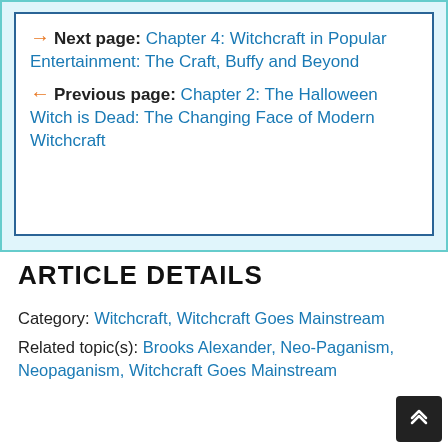→ Next page: Chapter 4: Witchcraft in Popular Entertainment: The Craft, Buffy and Beyond
← Previous page: Chapter 2: The Halloween Witch is Dead: The Changing Face of Modern Witchcraft
ARTICLE DETAILS
Category: Witchcraft, Witchcraft Goes Mainstream
Related topic(s): Brooks Alexander, Neo-Paganism, Neopaganism, Witchcraft Goes Mainstream